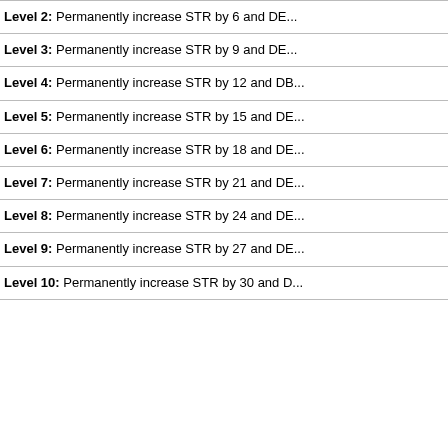Level 2: Permanently increase STR by 6 and DE...
Level 3: Permanently increase STR by 9 and DE...
Level 4: Permanently increase STR by 12 and DB...
Level 5: Permanently increase STR by 15 and DE...
Level 6: Permanently increase STR by 18 and DE...
Level 7: Permanently increase STR by 21 and DE...
Level 8: Permanently increase STR by 24 and DE...
Level 9: Permanently increase STR by 27 and DE...
Level 10: Permanently increase STR by 30 and D...
[Figure (illustration): Slipstream skill icon — pixel art of a running figure with wind/motion lines, orange and red tones]
Slipstream
Type: Passive
Description:
Pushes you past the wind to let you move quicker...
Level 1: MP Cost: 60, pushes you forward a set d...
Level 2: MP Cost: 55, pushes you forward a set d...
Level 3: MP Cost: 50, pushes you forward a set d...
Level 4: MP Cost: 45, pushes you forward a set d...